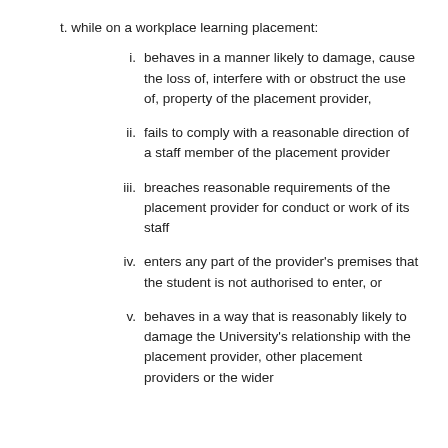t. while on a workplace learning placement:
i. behaves in a manner likely to damage, cause the loss of, interfere with or obstruct the use of, property of the placement provider,
ii. fails to comply with a reasonable direction of a staff member of the placement provider
iii. breaches reasonable requirements of the placement provider for conduct or work of its staff
iv. enters any part of the provider's premises that the student is not authorised to enter, or
v. behaves in a way that is reasonably likely to damage the University's relationship with the placement provider, other placement providers or the wider